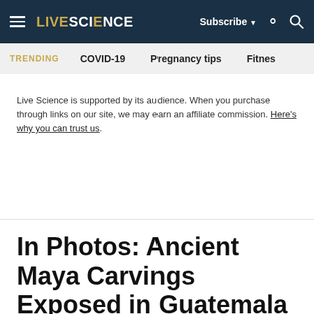LIVE SCIENCE | Subscribe | Search
TRENDING  COVID-19  Pregnancy tips  Fitnes
Live Science is supported by its audience. When you purchase through links on our site, we may earn an affiliate commission. Here's why you can trust us.
In Photos: Ancient Maya Carvings Exposed in Guatemala